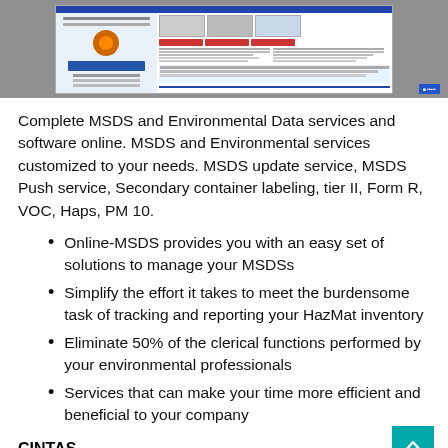[Figure (screenshot): Screenshot of an MSDS/environmental data services website showing navigation, content sections, images, and a mascot character.]
Complete MSDS and Environmental Data services and software online. MSDS and Environmental services customized to your needs. MSDS update service, MSDS Push service, Secondary container labeling, tier II, Form R, VOC, Haps, PM 10.
Online-MSDS provides you with an easy set of solutions to manage your MSDSs
Simplify the effort it takes to meet the burdensome task of tracking and reporting your HazMat inventory
Eliminate 50% of the clerical functions performed by your environmental professionals
Services that can make your time more efficient and beneficial to your company
CINTAS